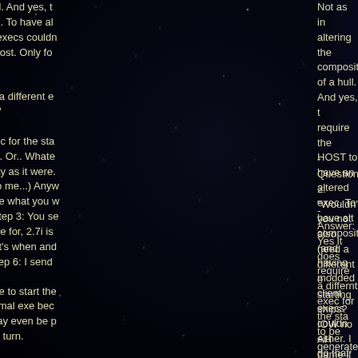Not as in altering the composition of a hull. And yes, that would require the HOST to have an altered exec. To have altered hull compositions (and having modded client execs couldn't hurt either. I do that stuff too but not on Auto Host. Only for a friend or two. :) )
-Question 2: "Wouldn't you not also need a different e... starting ships? IOW no AH game if yes ..."
-Answer: Yes it does require a differnt exec for the sta... to be generated into a game but that's it.... Or.. Whate... wrote some stuff that lets me plug and play as it were... say it but I'm not sure what IOW is, new to me...) Anyv... way it pans out is: Step 1: you guys tell me what you v... 2: I write some stuff and mod my exec.. Step 3: You se... your races in 2.7i format (that's what I write for, 2.7i is like J patch) Step 4: I generate game (that's when anc... when all them ships get implemented.) Step 6: I send
-Question 3: I think it'll need a different exe to start the... Players might be able to play with the normal exe bec... not chaning parts, just starting ships. It may even be p... use the standard exe to host after the first turn.
-Answer: not really a question but yes it does take a d... exec (that's my worry not yours.) No it doesn't take a c... run or play.. nope not changing parts charictorists.. An... wouldn't have asked about this if I hadn't tried using a... unmodded exec to play with.. Heck if anyone wants m... game just so you can see EXACTLY what IS possible